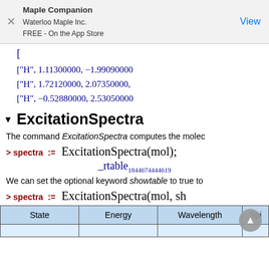Maple Companion
Waterloo Maple Inc.
FREE - On the App Store
["H", 1.11300000, -1.99090000...
["H", 1.72120000, 2.07350000,...
["H", -0.52880000, 2.53050000...
ExcitationSpectra
The command ExcitationSpectra computes the molecular excitation spectra.
> spectra := ExcitationSpectra(mol);
_rtable18446744446190...
We can set the optional keyword showtable to true to...
> spectra := ExcitationSpectra(mol, sh...
| State | Energy | Wavelength | Spi... |
| --- | --- | --- | --- |